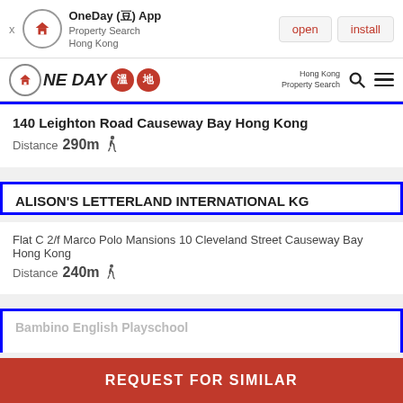[Figure (screenshot): App install banner for OneDay App - Property Search Hong Kong with open and install buttons]
[Figure (logo): OneDay Property Search Hong Kong nav bar logo with two red circular badges showing Chinese characters, search icon, and hamburger menu]
140 Leighton Road Causeway Bay Hong Kong
Distance 290m
ALISON'S LETTERLAND INTERNATIONAL KG
Flat C 2/f Marco Polo Mansions 10 Cleveland Street Causeway Bay Hong Kong
Distance 240m
Bambino English Playschool
REQUEST FOR SIMILAR